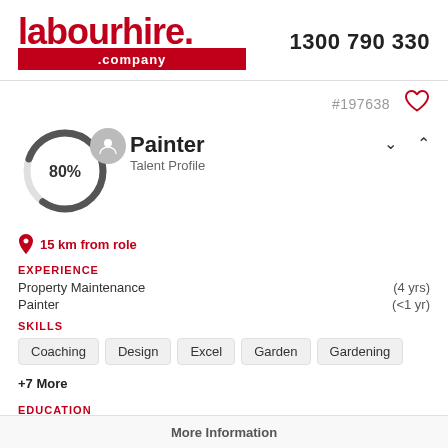labourhire.company  1300 790 330
#197638
Painter
Talent Profile
80%
15 km from role
EXPERIENCE
Property Maintenance (4 yrs)
Painter (<1 yr)
SKILLS
Coaching
Design
Excel
Garden
Gardening
+7 More
EDUCATION
Secondary School (K12) Certificate
More Information